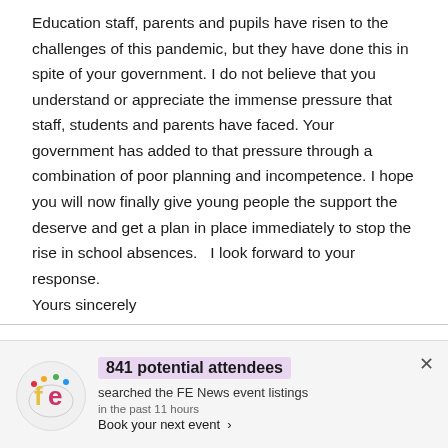Education staff, parents and pupils have risen to the challenges of this pandemic, but they have done this in spite of your government. I do not believe that you understand or appreciate the immense pressure that staff, students and parents have faced. Your government has added to that pressure through a combination of poor planning and incompetence. I hope you will now finally give young people the support the deserve and get a plan in place immediately to stop the rise in school absences.   I look forward to your response.
Yours sincerely
We use cookies on our website to give you the most relevant experience by remembering your preferences and repeat visits. By clicking “Accept”, you consent to
[Figure (infographic): FE News notification bar showing logo on left, bold text '841 potential attendees' in purple highlight, subtext 'searched the FE News event listings', time 'in the past 11 hours', link 'Book your next event >', and close X in top right.]